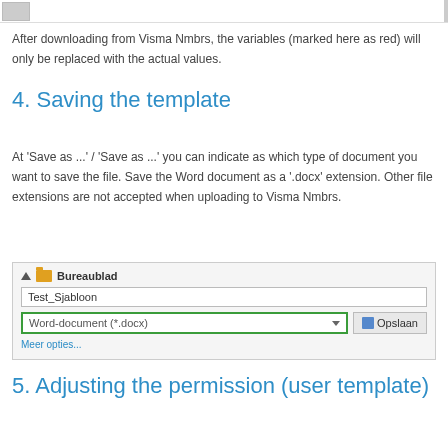[Figure (screenshot): Top portion of a screenshot partially visible at top of page]
After downloading from Visma Nmbrs, the variables (marked here as red) will only be replaced with the actual values.
4. Saving the template
At 'Save as ...' / 'Save as ...' you can indicate as which type of document you want to save the file. Save the Word document as a '.docx' extension. Other file extensions are not accepted when uploading to Visma Nmbrs.
[Figure (screenshot): Windows Save dialog showing filename 'Test_Sjabloon' and file type dropdown 'Word-document (*.docx)' highlighted with green border, and Opslaan (Save) button]
5. Adjusting the permission (user template)